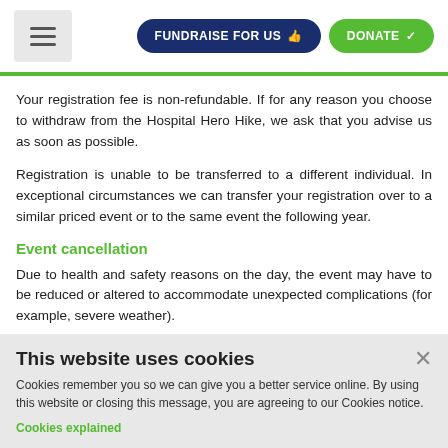FUNDRAISE FOR US | DONATE
Your registration fee is non-refundable. If for any reason you choose to withdraw from the Hospital Hero Hike, we ask that you advise us as soon as possible.
Registration is unable to be transferred to a different individual. In exceptional circumstances we can transfer your registration over to a similar priced event or to the same event the following year.
Event cancellation
Due to health and safety reasons on the day, the event may have to be reduced or altered to accommodate unexpected complications (for example, severe weather).
This website uses cookies
Cookies remember you so we can give you a better service online. By using this website or closing this message, you are agreeing to our Cookies notice.
Cookies explained